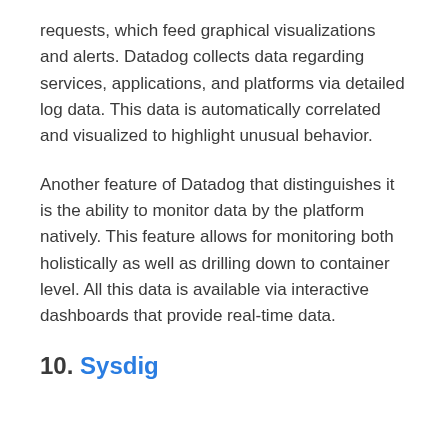requests, which feed graphical visualizations and alerts. Datadog collects data regarding services, applications, and platforms via detailed log data. This data is automatically correlated and visualized to highlight unusual behavior.
Another feature of Datadog that distinguishes it is the ability to monitor data by the platform natively. This feature allows for monitoring both holistically as well as drilling down to container level. All this data is available via interactive dashboards that provide real-time data.
10. Sysdig